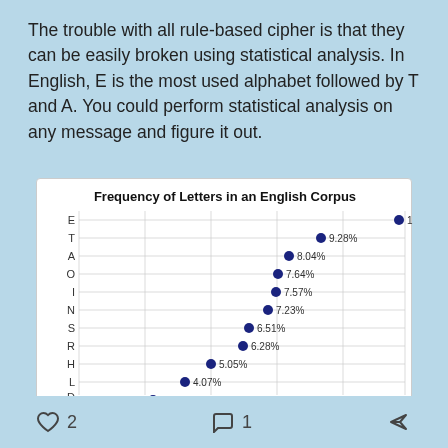The trouble with all rule-based cipher is that they can be easily broken using statistical analysis. In English, E is the most used alphabet followed by T and A. You could perform statistical analysis on any message and figure it out.
[Figure (scatter-plot): Frequency of Letters in an English Corpus]
♡ 2   💬 1   ↪